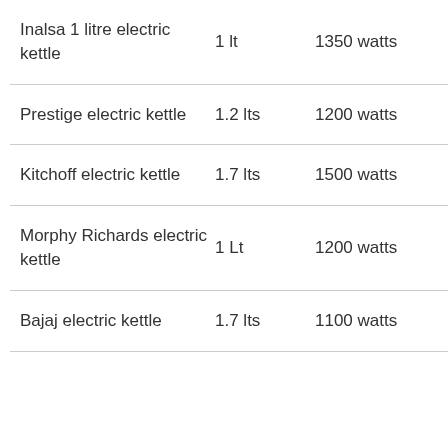| Product | Volume | Power |
| --- | --- | --- |
| Inalsa 1 litre electric kettle | 1 lt | 1350 watts |
| Prestige electric kettle | 1.2 lts | 1200 watts |
| Kitchoff electric kettle | 1.7 lts | 1500 watts |
| Morphy Richards electric kettle | 1 Lt | 1200 watts |
| Bajaj electric kettle | 1.7 lts | 1100 watts |